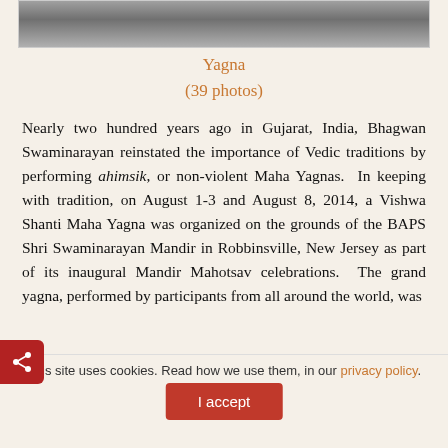[Figure (photo): Partial view of people walking, cropped at top of page]
Yagna
(39 photos)
Nearly two hundred years ago in Gujarat, India, Bhagwan Swaminarayan reinstated the importance of Vedic traditions by performing ahimsik, or non-violent Maha Yagnas. In keeping with tradition, on August 1-3 and August 8, 2014, a Vishwa Shanti Maha Yagna was organized on the grounds of the BAPS Shri Swaminarayan Mandir in Robbinsville, New Jersey as part of its inaugural Mandir Mahotsav celebrations. The grand yagna, performed by participants from all around the world, was
This site uses cookies. Read how we use them, in our privacy policy.
I accept